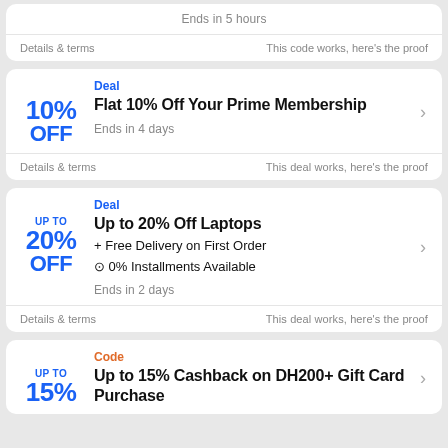Ends in 5 hours
Details & terms | This code works, here's the proof
Deal
10% OFF
Flat 10% Off Your Prime Membership
Ends in 4 days
Details & terms | This deal works, here's the proof
Deal
UP TO 20% OFF
Up to 20% Off Laptops
+ Free Delivery on First Order
⊙ 0% Installments Available
Ends in 2 days
Details & terms | This deal works, here's the proof
Code
UP TO 15%
Up to 15% Cashback on DH200+ Gift Card Purchase